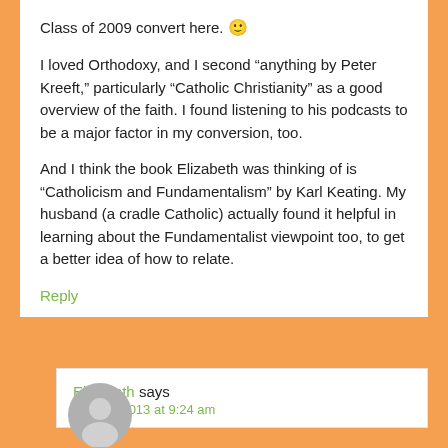Class of 2009 convert here. 🙂
I loved Orthodoxy, and I second “anything by Peter Kreeft,” particularly “Catholic Christianity” as a good overview of the faith. I found listening to his podcasts to be a major factor in my conversion, too.
And I think the book Elizabeth was thinking of is “Catholicism and Fundamentalism” by Karl Keating. My husband (a cradle Catholic) actually found it helpful in learning about the Fundamentalist viewpoint too, to get a better idea of how to relate.
Reply
Elizabeth says
July 20, 2013 at 9:24 am